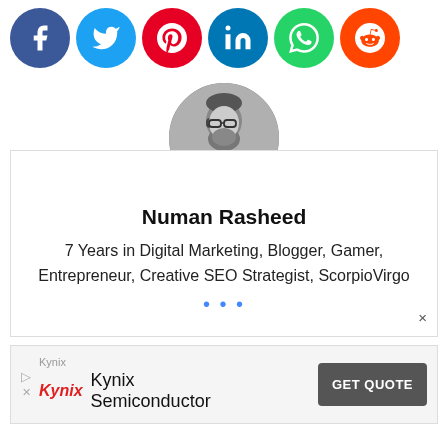[Figure (infographic): Social media share buttons: Facebook (blue), Twitter (light blue), Pinterest (red), LinkedIn (blue), WhatsApp (green), Reddit (orange), all circular icons]
[Figure (photo): Circular black and white profile photo of a bearded man with glasses]
Numan Rasheed
7 Years in Digital Marketing, Blogger, Gamer, Entrepreneur, Creative SEO Strategist, ScorpioVirgo
[Figure (infographic): Advertisement for Kynix Semiconductor with GET QUOTE button]